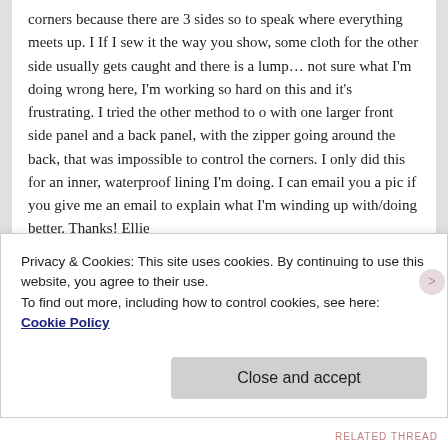corners because there are 3 sides so to speak where everything meets up. I If I sew it the way you show, some cloth for the other side usually gets caught and there is a lump… not sure what I'm doing wrong here, I'm working so hard on this and it's frustrating. I tried the other method to o with one larger front side panel and a back panel, with the zipper going around the back, that was impossible to control the corners. I only did this for an inner, waterproof lining I'm doing. I can email you a pic if you give me an email to explain what I'm winding up with/doing better. Thanks! Ellie
Reply ↓
Privacy & Cookies: This site uses cookies. By continuing to use this website, you agree to their use.
To find out more, including how to control cookies, see here: Cookie Policy
Close and accept